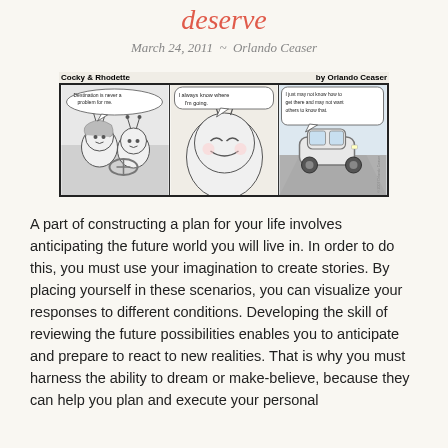deserve
March 24, 2011  ~  Orlando Ceaser
[Figure (illustration): A three-panel comic strip titled 'Cocky & Rhodette' by Orlando Ceaser. Panel 1: Two cartoon bug-like characters in a car, speech bubble says 'Destination is never a problem for me.' Panel 2: Close-up of one character smiling, speech bubble says 'I always know where I'm going.' Panel 3: A car driving on a road, speech bubble says 'I just may not know how to get there and may not want others to know that.']
A part of constructing a plan for your life involves anticipating the future world you will live in. In order to do this, you must use your imagination to create stories. By placing yourself in these scenarios, you can visualize your responses to different conditions. Developing the skill of reviewing the future possibilities enables you to anticipate and prepare to react to new realities. That is why you must harness the ability to dream or make-believe, because they can help you plan and execute your personal